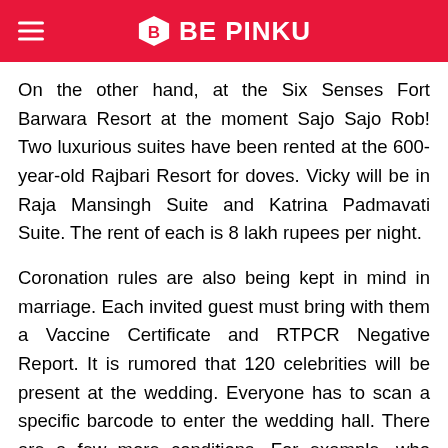BE PINKU
On the other hand, at the Six Senses Fort Barwara Resort at the moment Sajo Sajo Rob! Two luxurious suites have been rented at the 600-year-old Rajbari Resort for doves. Vicky will be in Raja Mansingh Suite and Katrina Padmavati Suite. The rent of each is 8 lakh rupees per night.
Coronation rules are also being kept in mind in marriage. Each invited guest must bring with them a Vaccine Certificate and RTPCR Negative Report. It is rumored that 120 celebrities will be present at the wedding. Everyone has to scan a specific barcode to enter the wedding hall. There are a few more conditions. For example, who came to the wedding ceremony can not